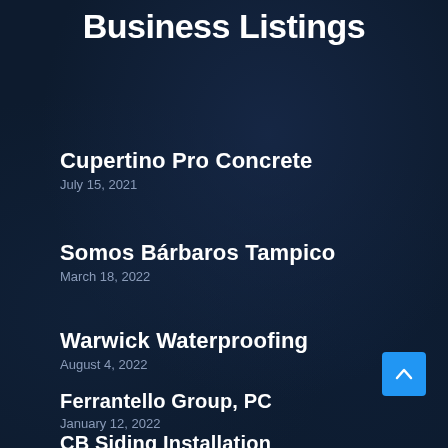Business Listings
Cupertino Pro Concrete
July 15, 2021
Somos Bárbaros Tampico
March 18, 2022
Warwick Waterproofing
August 4, 2022
Ferrantello Group, PC
January 12, 2022
CB Siding Installation